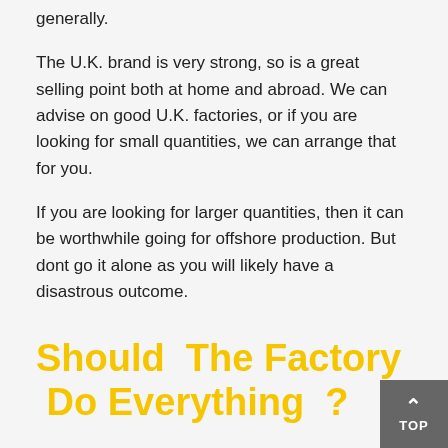generally.
The U.K. brand is very strong, so is a great selling point both at home and abroad. We can advise on good U.K. factories, or if you are looking for small quantities, we can arrange that for you.
If you are looking for larger quantities, then it can be worthwhile going for offshore production. But dont go it alone as you will likely have a disastrous outcome.
Should  The Factory  Do Everything  ?
We do not normally recommend using a factory that does everything for you, unless you can ensure that they use professional pattern cutters and graders and that they have the